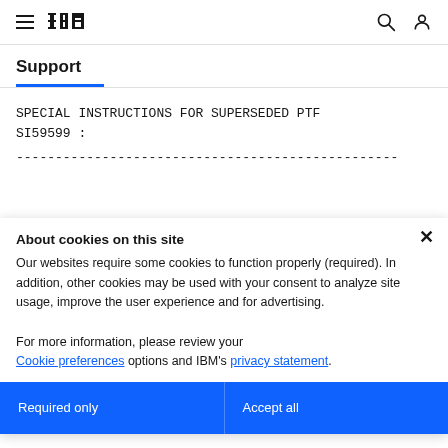IBM Support
Support
SPECIAL INSTRUCTIONS FOR SUPERSEDED PTF SI59599 :
About cookies on this site
Our websites require some cookies to function properly (required). In addition, other cookies may be used with your consent to analyze site usage, improve the user experience and for advertising.

For more information, please review your Cookie preferences options and IBM's privacy statement.
Required only
Accept all